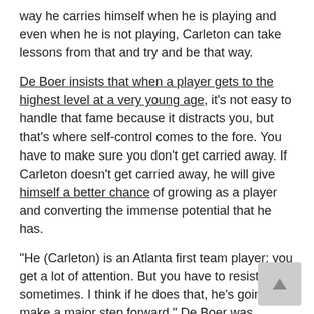way he carries himself when he is playing and even when he is not playing, Carleton can take lessons from that and try and be that way.
De Boer insists that when a player gets to the highest level at a very young age, it's not easy to handle that fame because it distracts you, but that's where self-control comes to the fore. You have to make sure you don't get carried away. If Carleton doesn't get carried away, he will give himself a better chance of growing as a player and converting the immense potential that he has.
“He (Carleton) is an Atlanta first team player; you get a lot of attention. But you have to resist it sometimes. I think if he does that, he’s going to make a major step forward.” De Boer was quoted saying by mlssoccer.com.